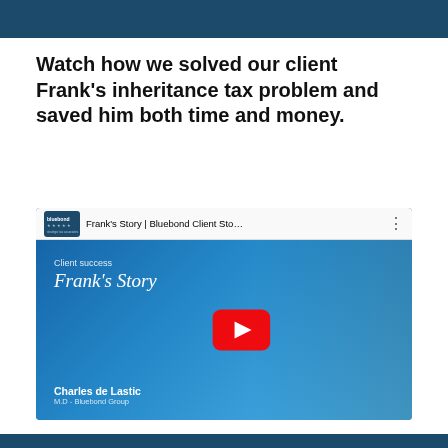Watch how we solved our client Frank's inheritance tax problem and saved him both time and money.
[Figure (screenshot): YouTube video thumbnail showing 'Frank's Story | Bluebond Client Sto...' with a man in a dark suit on a blue background, a red YouTube play button, text 'Client success / Frank's Story', presenter name 'Charles de Lastic, M.D. Bluebond Group', and the Bluebond logo in the top-left corner.]